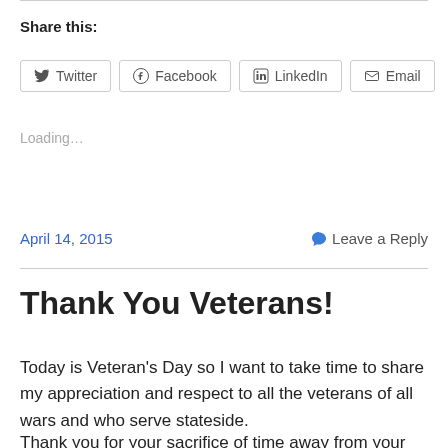Share this:
[Figure (screenshot): Social share buttons: Twitter, Facebook, LinkedIn, Email]
Loading...
April 14, 2015
Leave a Reply
Thank You Veterans!
Today is Veteran's Day so I want to take time to share my appreciation and respect to all the veterans of all wars and who serve stateside.
Thank you for your sacrifice of time away from your